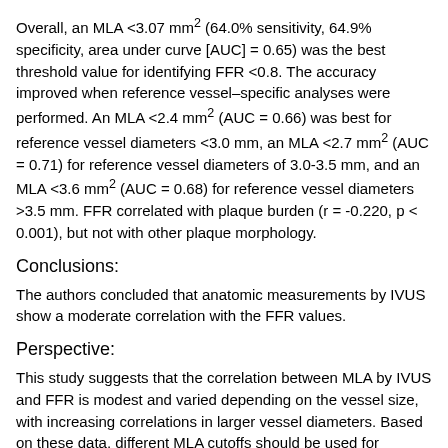Overall, an MLA <3.07 mm² (64.0% sensitivity, 64.9% specificity, area under curve [AUC] = 0.65) was the best threshold value for identifying FFR <0.8. The accuracy improved when reference vessel–specific analyses were performed. An MLA <2.4 mm² (AUC = 0.66) was best for reference vessel diameters <3.0 mm, an MLA <2.7 mm² (AUC = 0.71) for reference vessel diameters of 3.0-3.5 mm, and an MLA <3.6 mm² (AUC = 0.68) for reference vessel diameters >3.5 mm. FFR correlated with plaque burden (r = -0.220, p < 0.001), but not with other plaque morphology.
Conclusions:
The authors concluded that anatomic measurements by IVUS show a moderate correlation with the FFR values.
Perspective:
This study suggests that the correlation between MLA by IVUS and FFR is modest and varied depending on the vessel size, with increasing correlations in larger vessel diameters. Based on these data, different MLA cutoffs should be used for different vessel sizes. Furthermore, plaque composition assessed by virtual histology (VH) IVUS does not appear to correlate with FFR for...